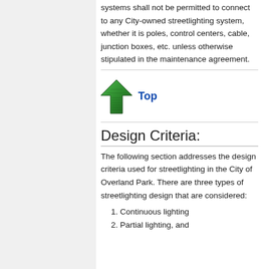systems shall not be permitted to connect to any City-owned streetlighting system, whether it is poles, control centers, cable, junction boxes, etc. unless otherwise stipulated in the maintenance agreement.
[Figure (illustration): Green upward arrow icon used as a navigation graphic linking to Top of page]
Top
Design Criteria:
The following section addresses the design criteria used for streetlighting in the City of Overland Park. There are three types of streetlighting design that are considered:
1. Continuous lighting
2. Partial lighting, and